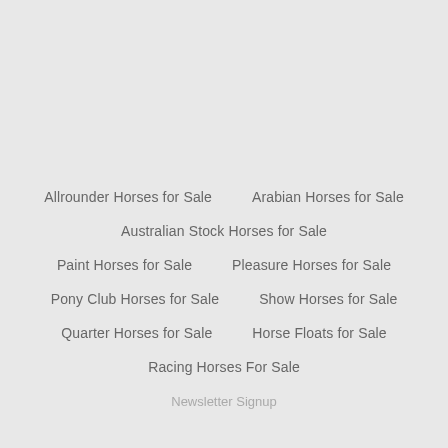Allrounder Horses for Sale
Arabian Horses for Sale
Australian Stock Horses for Sale
Paint Horses for Sale
Pleasure Horses for Sale
Pony Club Horses for Sale
Show Horses for Sale
Quarter Horses for Sale
Horse Floats for Sale
Racing Horses For Sale
Newsletter Signup